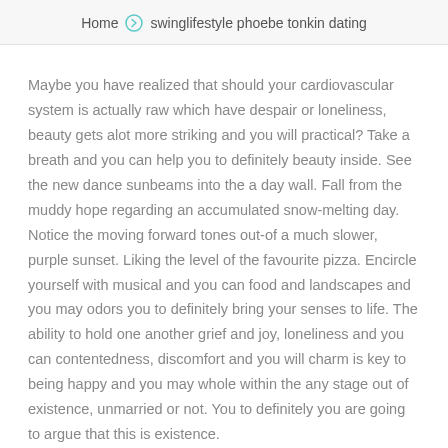Home > swinglifestyle phoebe tonkin dating
Maybe you have realized that should your cardiovascular system is actually raw which have despair or loneliness, beauty gets alot more striking and you will practical? Take a breath and you can help you to definitely beauty inside. See the new dance sunbeams into the a day wall. Fall from the muddy hope regarding an accumulated snow-melting day. Notice the moving forward tones out-of a much slower, purple sunset. Liking the level of the favourite pizza. Encircle yourself with musical and you can food and landscapes and you may odors you to definitely bring your senses to life. The ability to hold one another grief and joy, loneliness and you can contentedness, discomfort and you will charm is key to being happy and you may whole within the any stage out of existence, unmarried or not. You to definitely you are going to argue that this is existence.